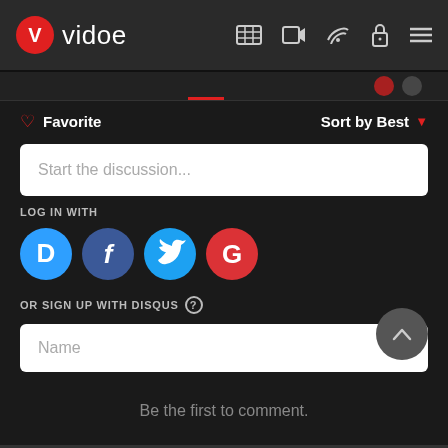vidoe - navigation bar with logo and icons
Favorite  Sort by Best
Start the discussion...
LOG IN WITH
[Figure (infographic): Social login buttons: Disqus (blue), Facebook (dark blue), Twitter (light blue), Google (red)]
OR SIGN UP WITH DISQUS ?
Name
Be the first to comment.